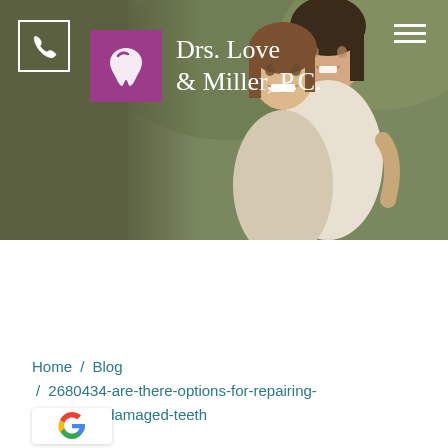[Figure (screenshot): Header banner of dental practice website showing two smiling women on right, olive green background on left, purple logo icon with tooth graphic, and text 'Drs. Love & Miller, P.C.' in white on green background. Phone icon box top-left corner, hamburger menu top-right.]
Home / Blog / 2680434-are-there-options-for-repairing-ely-damaged-teeth
[Figure (logo): Google 'G' logo in a white rounded rectangle badge]